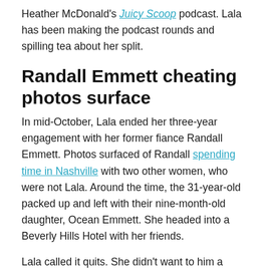Heather McDonald's Juicy Scoop podcast. Lala has been making the podcast rounds and spilling tea about her split.
Randall Emmett cheating photos surface
In mid-October, Lala ended her three-year engagement with her former fiance Randall Emmett. Photos surfaced of Randall spending time in Nashville with two other women, who were not Lala. Around the time, the 31-year-old packed up and left with their nine-month-old daughter, Ocean Emmett. She headed into a Beverly Hills Hotel with her friends.
Lala called it quits. She didn't want to him a second chance and rightfully so. The alleged photos surfaced showing Randall with two women in Nashville. They were seen heading into a hotel room. Lala also scrubbed all photos of